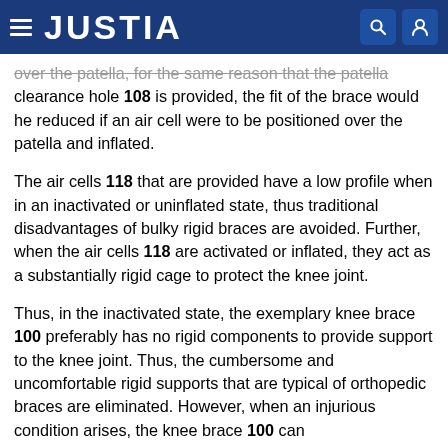JUSTIA
over the patella, for the same reason that the patella clearance hole 108 is provided, the fit of the brace would he reduced if an air cell were to be positioned over the patella and inflated.
The air cells 118 that are provided have a low profile when in an inactivated or uninflated state, thus traditional disadvantages of bulky rigid braces are avoided. Further, when the air cells 118 are activated or inflated, they act as a substantially rigid cage to protect the knee joint.
Thus, in the inactivated state, the exemplary knee brace 100 preferably has no rigid components to provide support to the knee joint. Thus, the cumbersome and uncomfortable rigid supports that are typical of orthopedic braces are eliminated. However, when an injurious condition arises, the knee brace 100 can